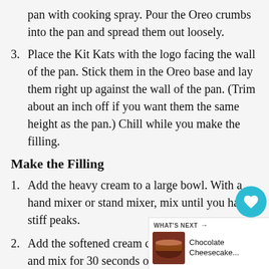pan with cooking spray. Pour the Oreo crumbs into the pan and spread them out loosely.
3. Place the Kit Kats with the logo facing the wall of the pan. Stick them in the Oreo base and lay them right up against the wall of the pan. (Trim about an inch off if you want them the same height as the pan.) Chill while you make the filling.
Make the Filling
1. Add the heavy cream to a large bowl. With a hand mixer or stand mixer, mix until you have stiff peaks.
2. Add the softened cream cheese to a large bowl and mix for 30 seconds or so. Add the powdered sugar and mix it in. Sc sides of the bowl as necessary with a spatula.